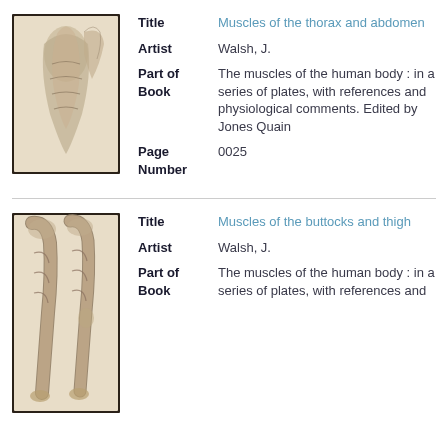[Figure (illustration): Anatomical illustration of muscles of the thorax and abdomen, sepia/grayscale tone]
Title: Muscles of the thorax and abdomen
Artist: Walsh, J.
Part of Book: The muscles of the human body : in a series of plates, with references and physiological comments. Edited by Jones Quain
Page Number: 0025
[Figure (illustration): Anatomical illustration of muscles of the buttocks and thigh, sepia/grayscale tone]
Title: Muscles of the buttocks and thigh
Artist: Walsh, J.
Part of Book: The muscles of the human body : in a series of plates, with references and